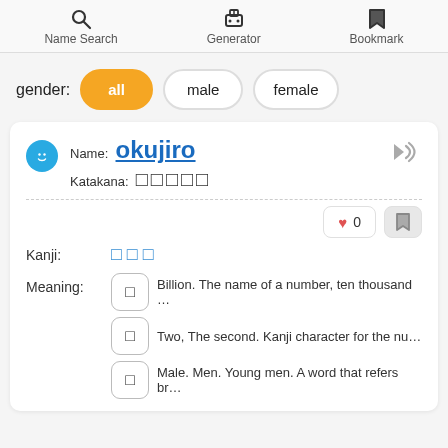Name Search  Generator  Bookmark
gender:  all  male  female
Name: okujiro
Katakana: □□□□□
Kanji: □□□
Meaning: □ Billion. The name of a number, ten thousand ...
□ Two, The second. Kanji character for the nu...
□ Male. Men. Young men. A word that refers br...